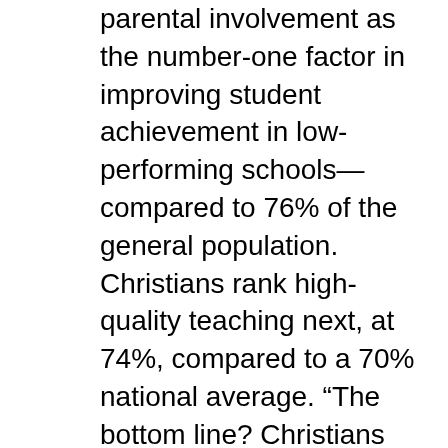parental involvement as the number-one factor in improving student achievement in low-performing schools—compared to 76% of the general population. Christians rank high-quality teaching next, at 74%, compared to a 70% national average. “The bottom line? Christians understand public educational improvement as a responsibility of parents rather than of all Christians as local school community members.”
It’s an understandable perspective, Baker-Fulgham says, but it doesn’t take into account all of the factors that affect a child’s education. “Having been raised in urban Detroit myself, I completely believe in the potential of self-empowerment and a local